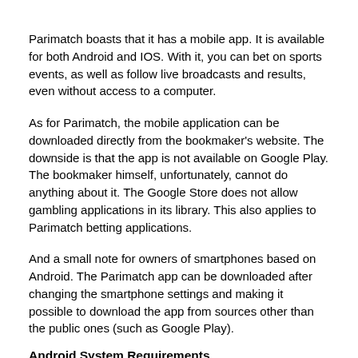Parimatch boasts that it has a mobile app. It is available for both Android and IOS. With it, you can bet on sports events, as well as follow live broadcasts and results, even without access to a computer.
As for Parimatch, the mobile application can be downloaded directly from the bookmaker's website. The downside is that the app is not available on Google Play. The bookmaker himself, unfortunately, cannot do anything about it. The Google Store does not allow gambling applications in its library. This also applies to Parimatch betting applications.
And a small note for owners of smartphones based on Android. The Parimatch app can be downloaded after changing the smartphone settings and making it possible to download the app from sources other than the public ones (such as Google Play).
Android System Requirements
| Operating system | Android 5.0 |
| --- | --- |
| RAM | 1 Gb |
| Processor | 1.2 GHz |